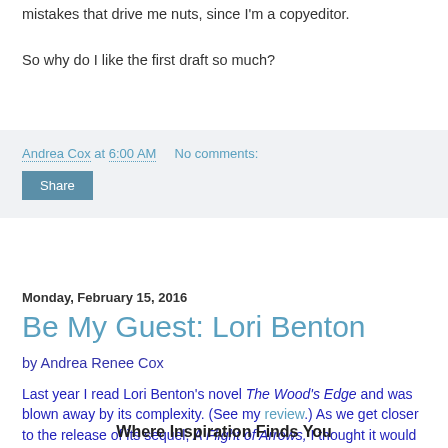mistakes that drive me nuts, since I'm a copyeditor.
So why do I like the first draft so much?
Andrea Cox at 6:00 AM    No comments:
Share
Monday, February 15, 2016
Be My Guest: Lori Benton
by Andrea Renee Cox
Last year I read Lori Benton's novel The Wood's Edge and was blown away by its complexity. (See my review.) As we get closer to the release of its sequel, A Flight of Arrows, I thought it would be a nice treat for Lori to hang out with us here at Writing to Inspire.
Where Inspiration Finds You